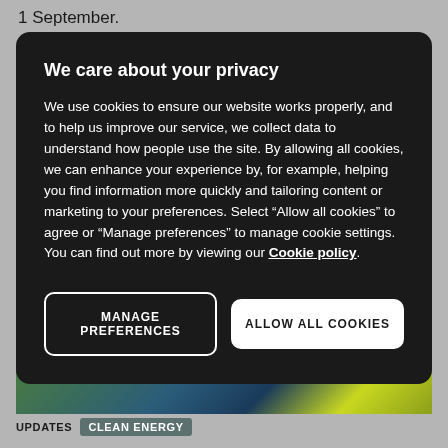1 September.
We care about your privacy
We use cookies to ensure our website works properly, and to help us improve our service, we collect data to understand how people use the site. By allowing all cookies, we can enhance your experience by, for example, helping you find information more quickly and tailoring content or marketing to your preferences. Select “Allow all cookies” to agree or “Manage preferences” to manage cookie settings. You can find out more by viewing our Cookie policy.
MANAGE PREFERENCES
ALLOW ALL COOKIES
[Figure (photo): Yellow and blue cables or wires photo strip]
UPDATES   CLEAN ENERGY